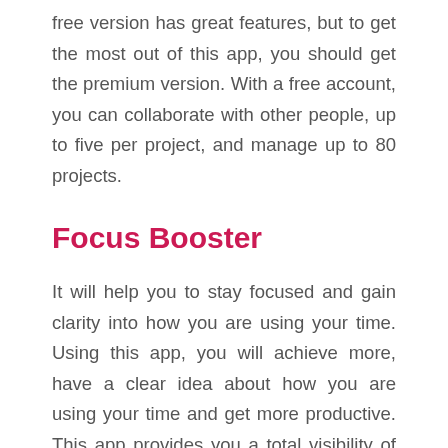free version has great features, but to get the most out of this app, you should get the premium version. With a free account, you can collaborate with other people, up to five per project, and manage up to 80 projects.
Focus Booster
It will help you to stay focused and gain clarity into how you are using your time. Using this app, you will achieve more, have a clear idea about how you are using your time and get more productive. This app provides you a total visibility of where you spent your time and made your revenue on a dashboard. By using Focus Booster, you will get deep understanding of your